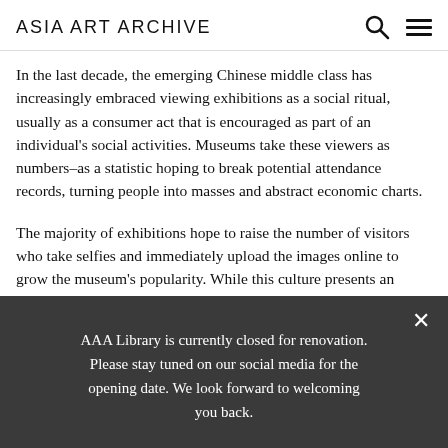ASIA ART ARCHIVE
In the last decade, the emerging Chinese middle class has increasingly embraced viewing exhibitions as a social ritual, usually as a consumer act that is encouraged as part of an individual's social activities. Museums take these viewers as numbers–as a statistic hoping to break potential attendance records, turning people into masses and abstract economic charts.
The majority of exhibitions hope to raise the number of visitors who take selfies and immediately upload the images online to grow the museum's popularity. While this culture presents an interesting form of exhibition
AAA Library is currently closed for renovation. Please stay tuned on our social media for the opening date. We look forward to welcoming you back.